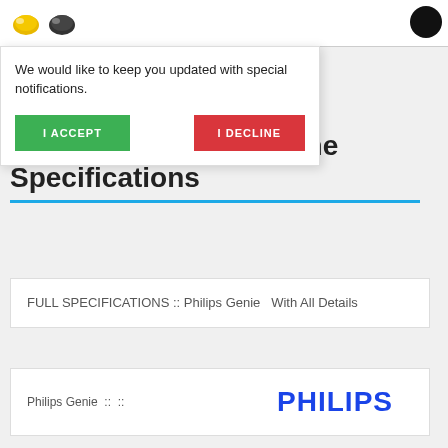[Figure (screenshot): Page header with two small helmet/product icons]
We would like to keep you updated with special notifications.
I ACCEPT
I DECLINE
Philips Genie Full Phone Specifications
FULL SPECIFICATIONS :: Philips Genie   With All Details
Philips Genie  ::  ::
[Figure (logo): PHILIPS logo in bold blue text]